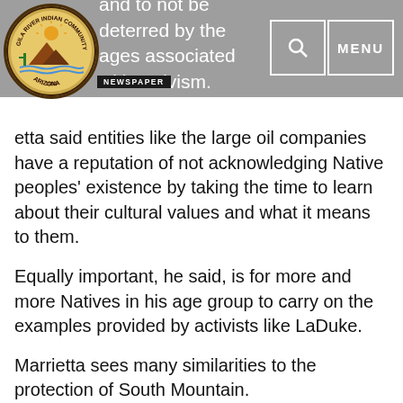em their people and to not be deterred by the ages associated with activism.
[Figure (logo): Gila River Indian Community Arizona circular seal/logo with desert landscape, mountains, sun, and cactus]
NEWSPAPER
etta said entities like the large oil companies have a reputation of not acknowledging Native peoples' existence by taking the time to learn about their cultural values and what it means to them.
Equally important, he said, is for more and more Natives in his age group to carry on the examples provided by activists like LaDuke.
Marrietta sees many similarities to the protection of South Mountain.
“The activism that [I] participate in has a lot to do with bringing awareness about what [South] Mountain means in terms that non-indigenous people understand,” said Marrietta, “What we can do is build